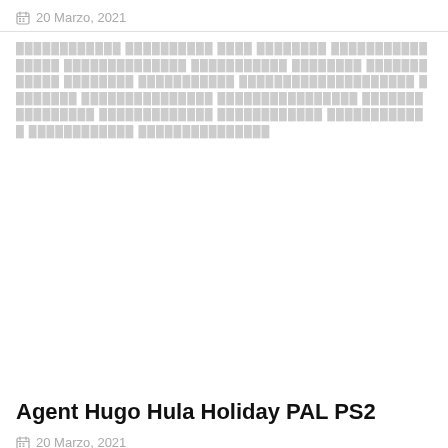20 Marzo, 2021
[blurred/redacted text block]
Agent Hugo Hula Holiday PAL PS2
20 Marzo, 2021
[blurred/redacted text block]